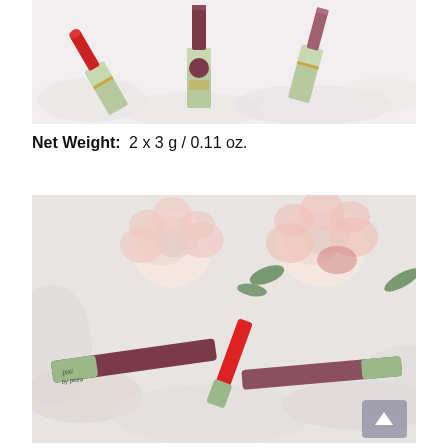[Figure (photo): Top-down product photo of three Pixi lip color products (lipsticks/glosses) in green and gold packaging with red and mauve colored lipstick caps, laid on a white fluffy surface.]
Net Weight: 2 x 3 g / 0.11 oz.
[Figure (photo): Close-up photo of multiple Pixi by Petra lip color products (lipsticks) in green packaging with red and mauve shades, laid on a white fluffy surface next to pink and white roses.]